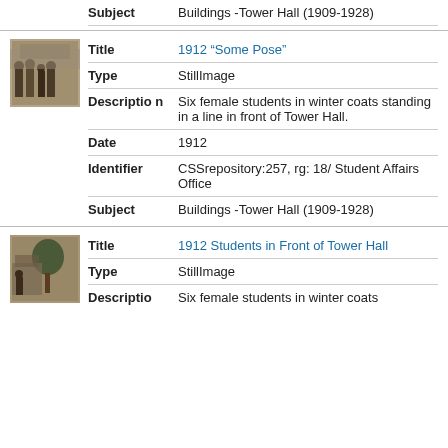| Field | Value |
| --- | --- |
| Subject | Buildings -Tower Hall (1909-1928) |
[Figure (photo): Thumbnail photograph of six female students standing in a line in front of Tower Hall, 1912]
| Field | Value |
| --- | --- |
| Title | 1912 “Some Pose” |
| Type | StillImage |
| Description | Six female students in winter coats standing in a line in front of Tower Hall. |
| Date | 1912 |
| Identifier | CSSrepository:257, rg: 18/ Student Affairs Office |
| Subject | Buildings -Tower Hall (1909-1928) |
[Figure (photo): Thumbnail photograph of 1912 Students in Front of Tower Hall]
| Field | Value |
| --- | --- |
| Title | 1912 Students in Front of Tower Hall |
| Type | StillImage |
| Description | Six female students in winter coats |